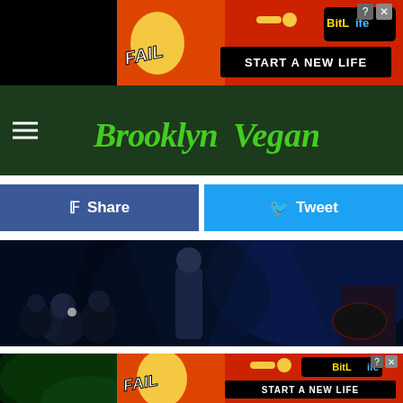[Figure (screenshot): BitLife advertisement banner with 'FAIL' text, cartoon character, flames, and 'START A NEW LIFE' text on red background]
Brooklyn Vegan
[Figure (photo): Facebook Share button (blue) and Twitter Tweet button (light blue)]
[Figure (photo): Concert photo showing audience members and performers on stage under blue lighting, taken in a dark venue]
[Figure (photo): Concert photo with green stage lighting showing performer with long hair bowed down and another performer at microphone with orange/yellow lighting]
[Figure (screenshot): BitLife advertisement banner with 'FAIL' text, cartoon character, flames, and 'START A NEW LIFE' text on red background, overlaid on second concert photo]